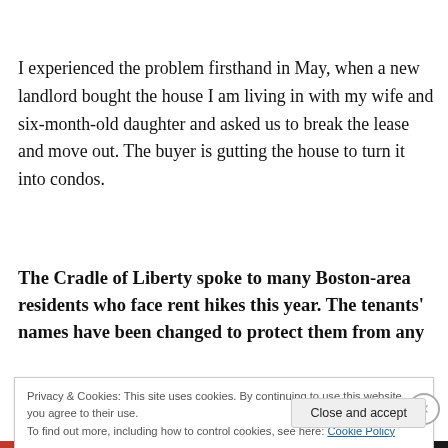I experienced the problem firsthand in May, when a new landlord bought the house I am living in with my wife and six-month-old daughter and asked us to break the lease and move out. The buyer is gutting the house to turn it into condos.
The Cradle of Liberty spoke to many Boston-area residents who face rent hikes this year. The tenants' names have been changed to protect them from any
Privacy & Cookies: This site uses cookies. By continuing to use this website, you agree to their use.
To find out more, including how to control cookies, see here: Cookie Policy
Close and accept